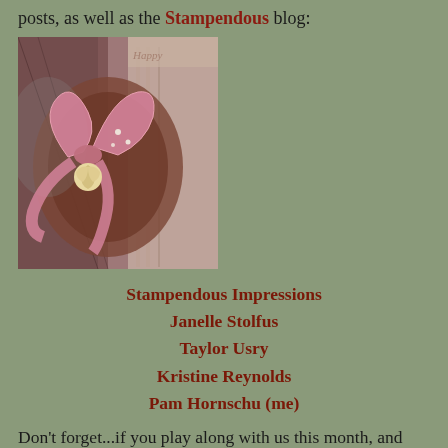posts, as well as the Stampendous blog:
[Figure (photo): Close-up photo of a decorative craft item with a pink ribbon bow and a small cream rose, against a dark background with vintage paper elements.]
Stampendous Impressions
Janelle Stolfus
Taylor Usry
Kristine Reynolds
Pam Hornschu (me)
Don't forget...if you play along with us this month, and link your creation(s) on the Stampendous blog InLinkz, you can have an opportunity to win the fabulous Perfectly Clear Amore Frame...perfect for creating Valentines and wedding cards, or smoochy cards for that special someone...just